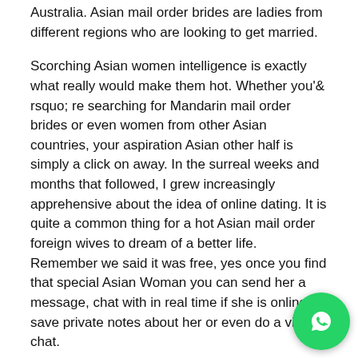Australia. Asian mail order brides are ladies from different regions who are looking to get married.
Scorching Asian women intelligence is exactly what really would make them hot. Whether you'& rsquo; re searching for Mandarin mail order brides or even women from other Asian countries, your aspiration Asian other half is simply a click on away. In the surreal weeks and months that followed, I grew increasingly apprehensive about the idea of online dating. It is quite a common thing for a hot Asian mail order foreign wives to dream of a better life. Remember we said it was free, yes once you find that special Asian Woman you can send her a message, chat with in real time if she is online, save private notes about her or even do a video chat.
We find the largest dating sites with Asian mail order bride, analyze everything, from privacy policy to number and quality of services, choose the best of them, and make qualified and unbiased reviews of the websites that are absolutely worth joining. Their intuitive connection with nature and belief in make Asian women calm, smiling, accepting first of all themselves and the type of person they came to this world. The famous Asian characteristics are competitive, the best...